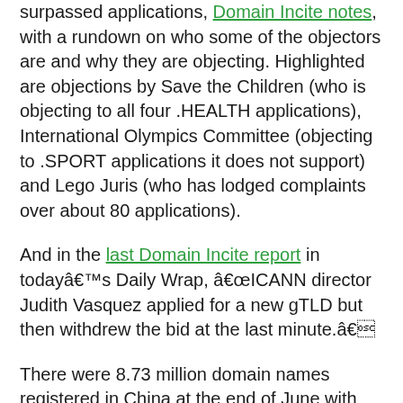surpassed applications, Domain Incite notes, with a rundown on who some of the objectors are and why they are objecting. Highlighted are objections by Save the Children (who is objecting to all four .HEALTH applications), International Olympics Committee (objecting to .SPORT applications it does not support) and Lego Juris (who has lodged complaints over about 80 applications).
And in the last Domain Incite report in todayâ€™s Daily Wrap, â€ICANN director Judith Vasquez applied for a new gTLD but then withdrew the bid at the last minute.â€
There were 8.73 million domain names registered in China at the end of June with 3.98 million of these being .CN domains, the China Internet Network Information Center (CNNIC) said on Monday according to a report in the Global Times.
The report noted that the number of websites using .CN was